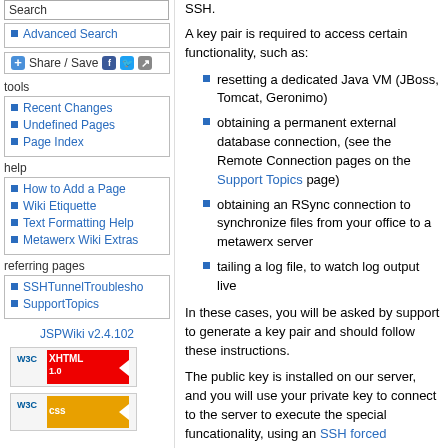Search
Advanced Search
Share / Save
tools
Recent Changes
Undefined Pages
Page Index
help
How to Add a Page
Wiki Etiquette
Text Formatting Help
Metawerx Wiki Extras
referring pages
SSHTunnelTroublesho
SupportTopics
JSPWiki v2.4.102
[Figure (logo): W3C XHTML 1.0 validation badge]
[Figure (logo): W3C CSS validation badge]
SSH.
A key pair is required to access certain functionality, such as:
resetting a dedicated Java VM (JBoss, Tomcat, Geronimo)
obtaining a permanent external database connection, (see the Remote Connection pages on the Support Topics page)
obtaining an RSync connection to synchronize files from your office to a metawerx server
tailing a log file, to watch log output live
In these cases, you will be asked by support to generate a key pair and should follow these instructions.
The public key is installed on our server, and you will use your private key to connect to the server to execute the special funcationality, using an SSH forced command.
Linux/Unix
On linux, SSH is provided by the